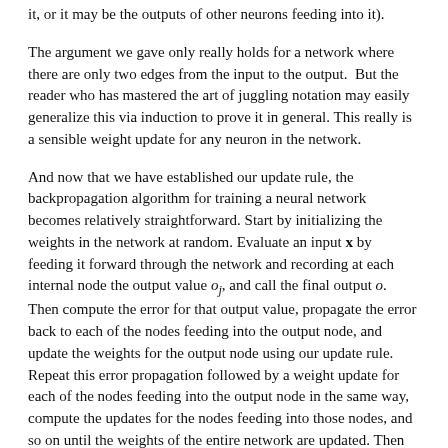it, or it may be the outputs of other neurons feeding into it).
The argument we gave only really holds for a network where there are only two edges from the input to the output. But the reader who has mastered the art of juggling notation may easily generalize this via induction to prove it in general. This really is a sensible weight update for any neuron in the network.
And now that we have established our update rule, the backpropagation algorithm for training a neural network becomes relatively straightforward. Start by initializing the weights in the network at random. Evaluate an input x by feeding it forward through the network and recording at each internal node the output value o_j, and call the final output o. Then compute the error for that output value, propagate the error back to each of the nodes feeding into the output node, and update the weights for the output node using our update rule. Repeat this error propagation followed by a weight update for each of the nodes feeding into the output node in the same way, compute the updates for the nodes feeding into those nodes, and so on until the weights of the entire network are updated. Then repeat with a new input x.